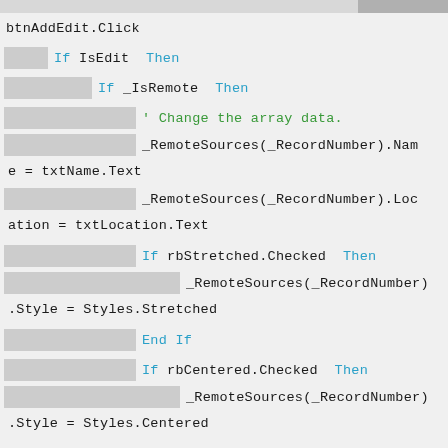btnAddEdit.Click
    If IsEdit Then
        If _IsRemote Then
            ' Change the array data.
            _RemoteSources(_RecordNumber).Name = txtName.Text
            _RemoteSources(_RecordNumber).Location = txtLocation.Text
            If rbStretched.Checked Then
                _RemoteSources(_RecordNumber).Style = Styles.Stretched
            End If
            If rbCentered.Checked Then
                _RemoteSources(_RecordNumber).Style = Styles.Centered